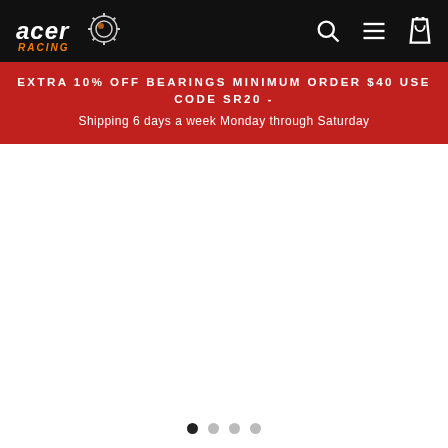[Figure (logo): Acer Racing logo in white/orange on black navigation bar with search, hamburger menu, and shopping bag icons]
EXTRA 10% OFF BEARINGS MINIMUM ORDER $40 USE CODE SR20 -
Shipping 6 days a week Monday through Saturday
[Figure (other): White blank content/slideshow area]
• ○ ○ ○ (carousel navigation dots)